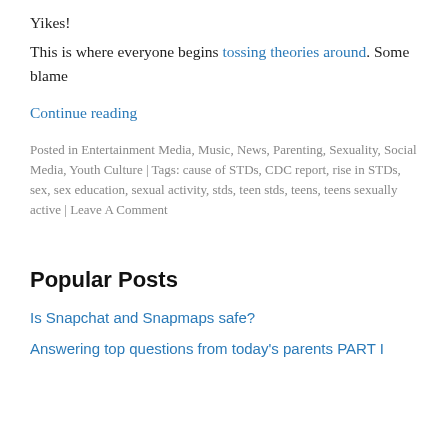Yikes!
This is where everyone begins tossing theories around. Some blame
Continue reading
Posted in Entertainment Media, Music, News, Parenting, Sexuality, Social Media, Youth Culture | Tags: cause of STDs, CDC report, rise in STDs, sex, sex education, sexual activity, stds, teen stds, teens, teens sexually active | Leave A Comment
Popular Posts
Is Snapchat and Snapmaps safe?
Answering top questions from today's parents PART I